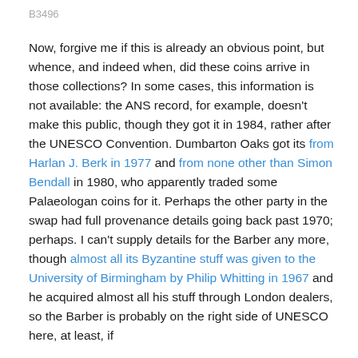B3496
Now, forgive me if this is already an obvious point, but whence, and indeed when, did these coins arrive in those collections? In some cases, this information is not available: the ANS record, for example, doesn't make this public, though they got it in 1984, rather after the UNESCO Convention. Dumbarton Oaks got its from Harlan J. Berk in 1977 and from none other than Simon Bendall in 1980, who apparently traded some Palaeologan coins for it. Perhaps the other party in the swap had full provenance details going back past 1970; perhaps. I can't supply details for the Barber any more, though almost all its Byzantine stuff was given to the University of Birmingham by Philip Whitting in 1967 and he acquired almost all his stuff through London dealers, so the Barber is probably on the right side of UNESCO here, at least, if